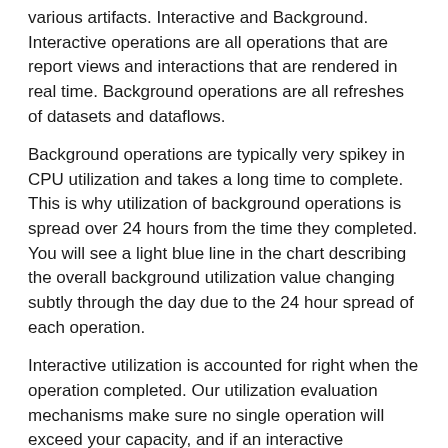various artifacts. Interactive and Background. Interactive operations are all operations that are report views and interactions that are rendered in real time. Background operations are all refreshes of datasets and dataflows.
Background operations are typically very spikey in CPU utilization and takes a long time to complete. This is why utilization of background operations is spread over 24 hours from the time they completed. You will see a light blue line in the chart describing the overall background utilization value changing subtly through the day due to the 24 hour spread of each operation.
Interactive utilization is accounted for right when the operation completed. Our utilization evaluation mechanisms make sure no single operation will exceed your capacity, and if an interactive operation's utilization is high enough to do so, its cost is spread over the next following minutes. A dark blue line in the chart represents your interactive utilization through the day